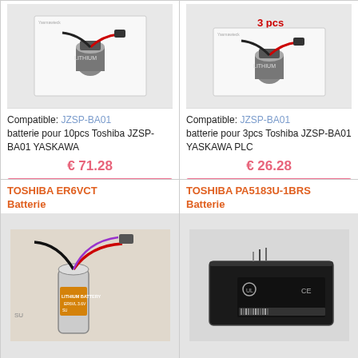[Figure (photo): Lithium battery JZSP-BA01 product photo on white card, with red and black wires]
Compatible: JZSP-BA01 batterie pour 10pcs Toshiba JZSP-BA01 YASKAWA
€ 71.28
Voir la fiche détaillée
En stock!
TO1559M_PLC_Oth
[Figure (photo): Lithium battery JZSP-BA01 product photo (3pcs) on white card, with red and black wires]
Compatible: JZSP-BA01 batterie pour 3pcs Toshiba JZSP-BA01 YASKAWA PLC
€ 26.28
Voir la fiche détaillée
En stock!
TO1558M_PLC_Oth
TOSHIBA ER6VCT Batterie
[Figure (photo): TOSHIBA ER6VCT 3.6V Lithium Battery cylindrical form with wire and orange tape]
TOSHIBA PA5183U-1BRS Batterie
[Figure (photo): TOSHIBA PA5183U-1BRS rectangular laptop battery with connectors]